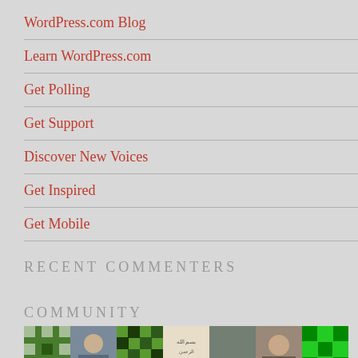WordPress.com Blog
Learn WordPress.com
Get Polling
Get Support
Discover New Voices
Get Inspired
Get Mobile
RECENT COMMENTERS
COMMUNITY
[Figure (photo): Row of community member avatar thumbnails including green geometric patterns, a portrait photo, illustrated logos, and other member images]